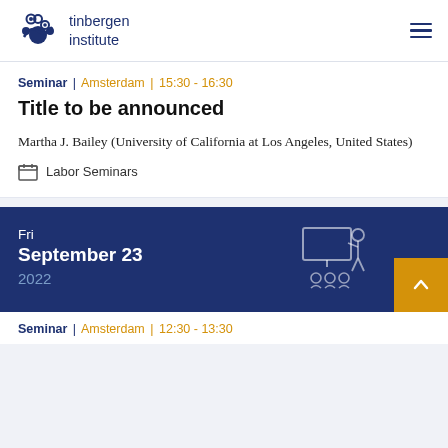tinbergen institute
Seminar | Amsterdam | 15:30 - 16:30
Title to be announced
Martha J. Bailey (University of California at Los Angeles, United States)
Labor Seminars
Fri
September 23
2022
Seminar | Amsterdam | 12:30 - 13:30